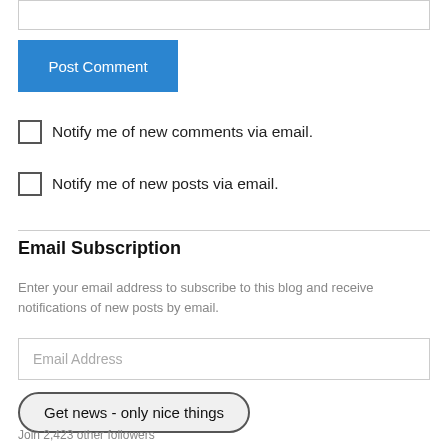[Figure (screenshot): Empty text input box at the top of the page]
Post Comment
Notify me of new comments via email.
Notify me of new posts via email.
Email Subscription
Enter your email address to subscribe to this blog and receive notifications of new posts by email.
[Figure (screenshot): Email Address input field]
Get news - only nice things
Join 2,423 other followers